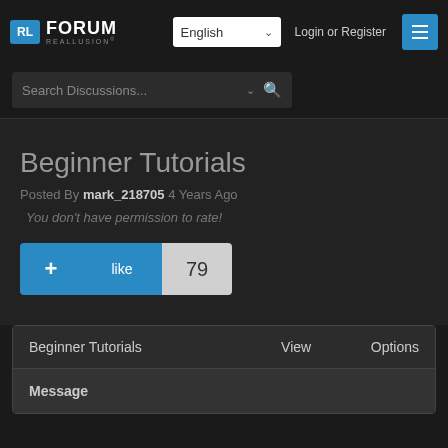RL FORUM REALLUSION
Search Discussions...
Beginner Tutorials
Posted By mark_218705 4 Years Ago
You don't have permission to rate!
+ like 79
| Beginner Tutorials | View | Options |
| --- | --- | --- |
| Message |  |  |
Login or Register